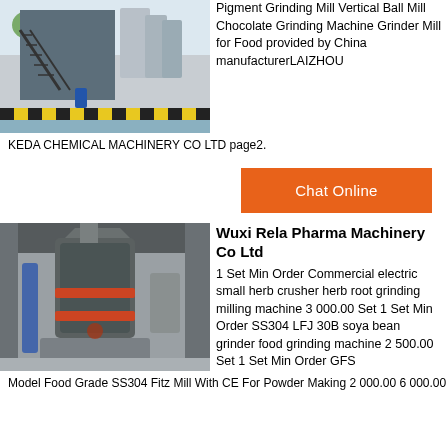[Figure (photo): Industrial grinding mill machinery installed outdoors with stairs and blue/yellow structure]
Pigment Grinding Mill Vertical Ball Mill Chocolate Grinding Machine Grinder Mill for Food provided by China manufacturerLAIZHOU
KEDA CHEMICAL MACHINERY CO LTD page2.
[Figure (illustration): Orange Chat Online button]
[Figure (photo): Large vertical industrial grinding mill machine inside a factory building]
Wuxi Rela Pharma Machinery Co Ltd
1 Set Min Order Commercial electric small herb crusher herb root grinding milling machine 3 000.00 Set 1 Set Min Order SS304 LFJ 30B soya bean grinder food grinding machine 2 500.00 Set 1 Set Min Order GFS
Model Food Grade SS304 Fitz Mill With CE For Powder Making 2 000.00 6 000.00